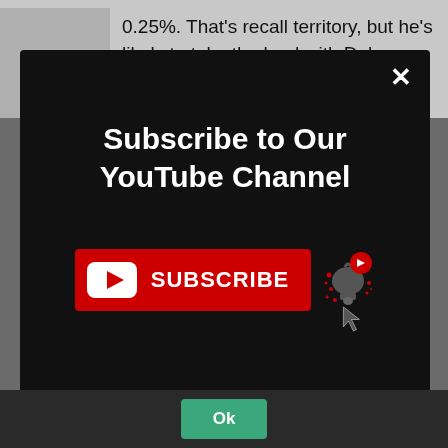0.25%. That's recall territory, but he's likely to take the lead with Delaware and Bucks.
[Figure (screenshot): YouTube subscribe modal popup with black background. Contains bold white text 'Subscribe to Our YouTube Channel', a red YouTube SUBSCRIBE button with play icon, a bell notification icon with YouTube logo badge, a cursor arrow pointing at the button, and an X close button in top right corner.]
Ok